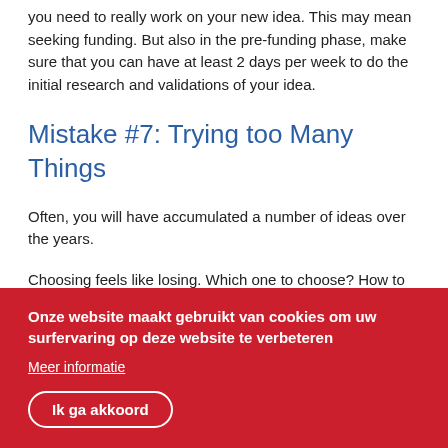you need to really work on your new idea. This may mean seeking funding. But also in the pre-funding phase, make sure that you can have at least 2 days per week to do the initial research and validations of your idea.
Mistake #7: Trying too Many Things
Often, you will have accumulated a number of ideas over the years.
Choosing feels like losing. Which one to choose? How to be sure you are betting on the right one - when so many new
Onze website maakt gebruikt van cookies om uw surfervaring op deze website te verbeteren
Meer informatie
Ik ga akkoord